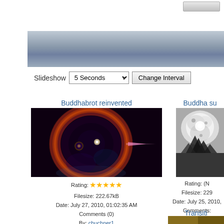[Figure (screenshot): Top white bar area with a small button in the top right corner]
[Figure (screenshot): Blue-gray gradient header/navigation bar]
Slideshow  5 Seconds ▼  Change Interval
Buddhabrot reinvented
[Figure (photo): Buddhabrot fractal image - dark background with red/orange circular nebula-like fractal with pink spike]
Rating: ★★★★★
Filesize: 222.67kB
Date: July 27, 2010, 01:02:35 AM
Comments (0)
By: cbuchner1
Buddha su
[Figure (photo): Buddha fractal in black and white with tree silhouette]
Rating: (N
Filesize: 229
Date: July 25, 2010,
Comments:
By: cbuchr
Transiti
[Figure (photo): Partial gold/brown colored fractal image at bottom right]